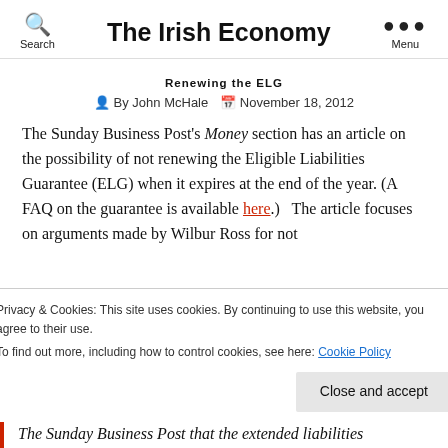The Irish Economy — Search | Menu
Renewing the ELG
By John McHale   November 18, 2012
The Sunday Business Post's Money section has an article on the possibility of not renewing the Eligible Liabilities Guarantee (ELG) when it expires at the end of the year. (A FAQ on the guarantee is available here.)   The article focuses on arguments made by Wilbur Ross for not
Privacy & Cookies: This site uses cookies. By continuing to use this website, you agree to their use. To find out more, including how to control cookies, see here: Cookie Policy
Close and accept
The Sunday Business Post that the extended liabilities